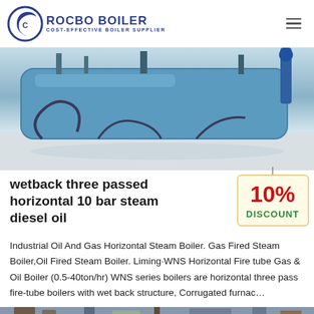[Figure (logo): Rocbo Boiler logo with crescent/C icon and text ROCBO BOILER / COST-EFFECTIVE BOILER SUPPLIER]
[Figure (photo): Industrial boiler equipment photo showing blue horizontal boiler/tank with pipes and fittings on a factory floor]
wetback three passed horizontal 10 bar steam diesel oil
[Figure (illustration): 10% DISCOUNT badge/tag hanging on a string]
Industrial Oil And Gas Horizontal Steam Boiler. Gas Fired Steam Boiler,Oil Fired Steam Boiler. Liming·WNS Horizontal Fire tube Gas & Oil Boiler (0.5-40ton/hr) WNS series boilers are horizontal three pass fire-tube boilers with wet back structure, Corrugated furnac…
[Figure (photo): Bottom partial photo of industrial boiler equipment with pipes and valves]